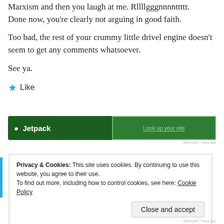Marxism and then you laugh at me. Rllllgggnnnnttttt. Done now, you're clearly not arguing in good faith.
Too bad, the rest of your crummy little drivel engine doesn't seem to get any comments whatsoever.
See ya.
[Figure (other): Like button with blue star icon and text 'Like']
[Figure (other): Green advertisement banner with white text on left and bordered button on right reading 'Look up your site']
REPORT THIS AD
Privacy & Cookies: This site uses cookies. By continuing to use this website, you agree to their use.
To find out more, including how to control cookies, see here: Cookie Policy
Close and accept